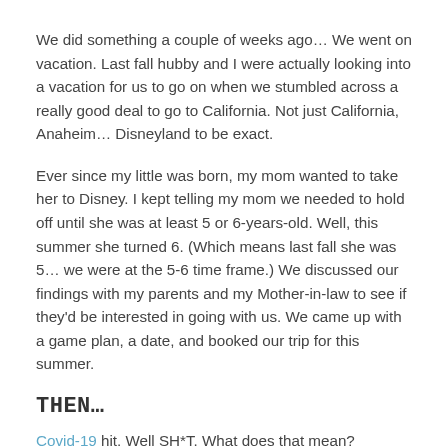We did something a couple of weeks ago… We went on vacation. Last fall hubby and I were actually looking into a vacation for us to go on when we stumbled across a really good deal to go to California. Not just California, Anaheim… Disneyland to be exact.
Ever since my little was born, my mom wanted to take her to Disney. I kept telling my mom we needed to hold off until she was at least 5 or 6-years-old. Well, this summer she turned 6. (Which means last fall she was 5… we were at the 5-6 time frame.) We discussed our findings with my parents and my Mother-in-law to see if they'd be interested in going with us. We came up with a game plan, a date, and booked our trip for this summer.
THEN…
Covid-19 hit. Well SH*T. What does that mean?
We waited all spring watching the news, debating, talking, stressing, etc. Disney (both World and Land) shut down. I